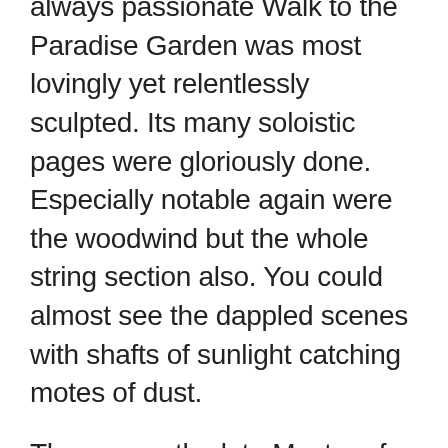always passionate Walk to the Paradise Garden was most lovingly yet relentlessly sculpted. Its many soloistic pages were gloriously done. Especially notable again were the woodwind but the whole string section also. You could almost see the dappled scenes with shafts of sunlight catching motes of dust.
Then came the late Master of the Queen's Music's An Orkney Wedding with Sunrise. The conductor entered the hall via the audience main aisle for a change. This was to signal an unusual work and one light years from Peter Maxwell Davies' wilder extremes of the 1960s. This piece came from his